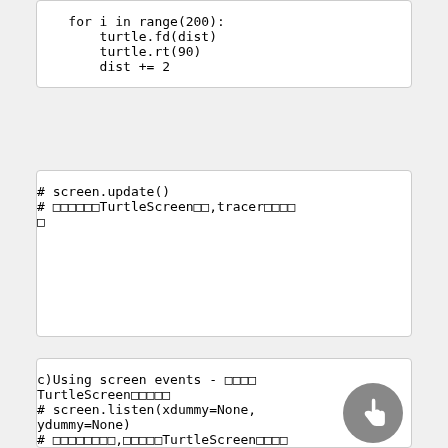for i in range(200):
    turtle.fd(dist)
    turtle.rt(90)
    dist += 2
# screen.update()
# ??????TurtleScreen??,tracer????
c)Using screen events - ????TurtleScreen?????
# screen.listen(xdummy=None, ydummy=None)
# ????????,?????TurtleScreen??????